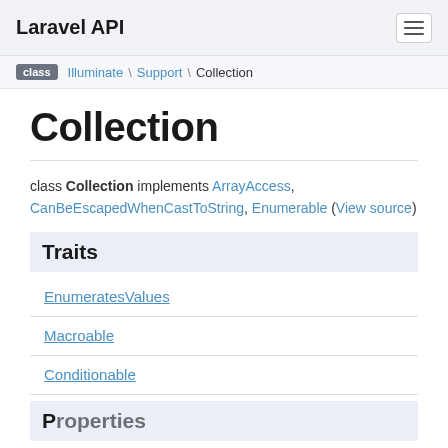Laravel API
class \ Illuminate \ Support \ Collection
Collection
class Collection implements ArrayAccess, CanBeEscapedWhenCastToString, Enumerable (View source)
Traits
EnumeratesValues
Macroable
Conditionable
Properties